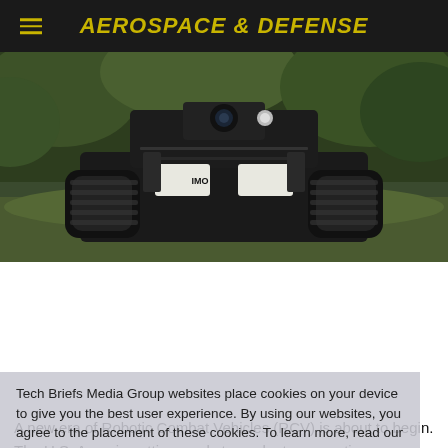AEROSPACE & DEFENSE
[Figure (photo): Front view of a black tracked unmanned ground vehicle (UGV/RCV) in a forested outdoor environment]
Tech Briefs Media Group websites place cookies on your device to give you the best user experience. By using our websites, you agree to the placement of these cookies. To learn more, read our Privacy Policy.
A new era of Robotic Combat Vehicles (RCV) is about to begin. The U.S. Army is getting ready to evaluate competing candidates to meet requirements for light and medium versions of a new class of modular unmanned ground vehicle (UGV). Designed to be controlled in the field via remote control, and in the future